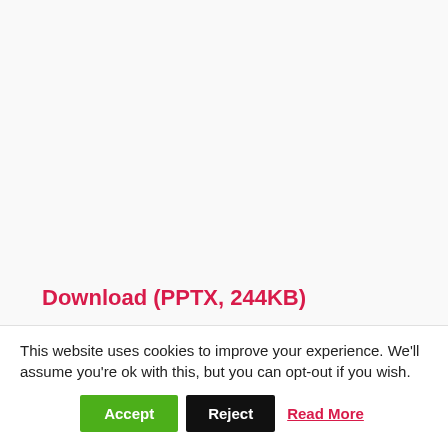Download (PPTX, 244KB)
[Figure (other): Gray placeholder rectangle below the download link]
This website uses cookies to improve your experience. We'll assume you're ok with this, but you can opt-out if you wish.
Accept  Reject  Read More